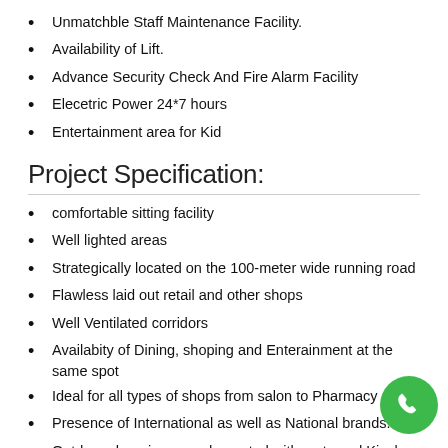Unmatchble Staff Maintenance Facility.
Availability of Lift.
Advance Security Check And Fire Alarm Facility
Elecetric Power 24*7 hours
Entertainment area for Kid
Project Specification:
comfortable sitting facility
Well lighted areas
Strategically located on the 100-meter wide running road
Flawless laid out retail and other shops
Well Ventilated corridors
Availabity of Dining, shoping and Enterainment at the same spot
Ideal for all types of shops from salon to Pharmacy
Presence of International as well as National brands.
Outdoor shopping area decorated with carts and Kiosks.
MRG World Bazaar 93 Location Advantage: